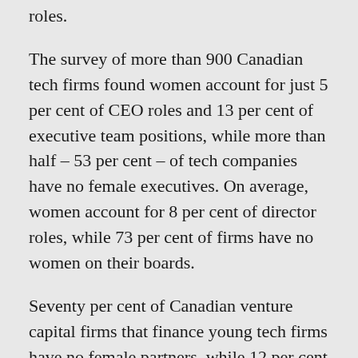roles.
The survey of more than 900 Canadian tech firms found women account for just 5 per cent of CEO roles and 13 per cent of executive team positions, while more than half – 53 per cent – of tech companies have no female executives. On average, women account for 8 per cent of director roles, while 73 per cent of firms have no women on their boards.
Seventy per cent of Canadian venture capital firms that finance young tech firms have no female partners, while 12 per cent of all partners are women. The study was led by a new Toronto organization called #movethedial and co-authored with PwC